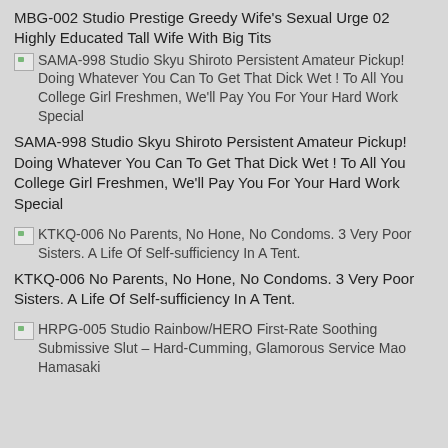MBG-002 Studio Prestige Greedy Wife's Sexual Urge 02 Highly Educated Tall Wife With Big Tits
[Figure (other): Broken image icon for SAMA-998]
SAMA-998 Studio Skyu Shiroto Persistent Amateur Pickup! Doing Whatever You Can To Get That Dick Wet ! To All You College Girl Freshmen, We'll Pay You For Your Hard Work Special
SAMA-998 Studio Skyu Shiroto Persistent Amateur Pickup! Doing Whatever You Can To Get That Dick Wet ! To All You College Girl Freshmen, We'll Pay You For Your Hard Work Special
[Figure (other): Broken image icon for KTKQ-006]
KTKQ-006 No Parents, No Hone, No Condoms. 3 Very Poor Sisters. A Life Of Self-sufficiency In A Tent.
KTKQ-006 No Parents, No Hone, No Condoms. 3 Very Poor Sisters. A Life Of Self-sufficiency In A Tent.
[Figure (other): Broken image icon for HRPG-005]
HRPG-005 Studio Rainbow/HERO First-Rate Soothing Submissive Slut – Hard-Cumming, Glamorous Service Mao Hamasaki